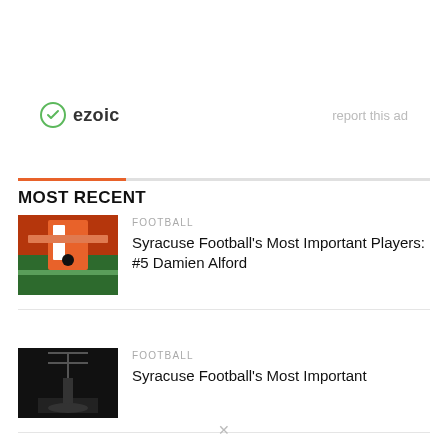[Figure (logo): Ezoic logo with green circle icon and bold text 'ezoic', with 'report this ad' link on the right]
MOST RECENT
[Figure (photo): Football player in orange uniform running on field]
FOOTBALL
Syracuse Football's Most Important Players: #5 Damien Alford
[Figure (photo): Dark image of a football goalpost at night]
FOOTBALL
Syracuse Football's Most Important